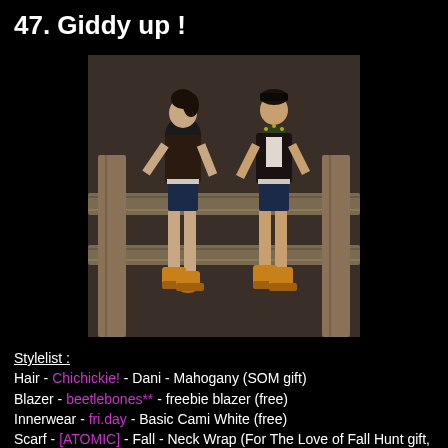47. Giddy up !
[Figure (photo): Two female avatars wearing dark blazers, denim shorts, and golden cowboy boots, posed in front of a wooden fence. Left avatar viewed from behind, right avatar facing forward.]
Stylelist :
Hair - Chichickie! - Dani - Mahogany (SOM gift)
Blazer - beetlebones** - freebie blazer (free)
Innerwear - fri.day - Basic Cami White (free)
Scarf - [ATOMIC] - Fall - Neck Wrap (For The Love of Fall Hunt gift, until 28th Nov)